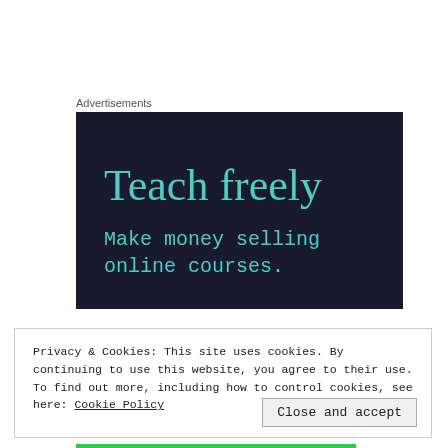Advertisements
[Figure (infographic): Dark navy advertisement banner with teal text reading 'Teach freely' in large serif font and 'Make money selling online courses.' in smaller monospace-style font below.]
Privacy & Cookies: This site uses cookies. By continuing to use this website, you agree to their use. To find out more, including how to control cookies, see here: Cookie Policy
Close and accept